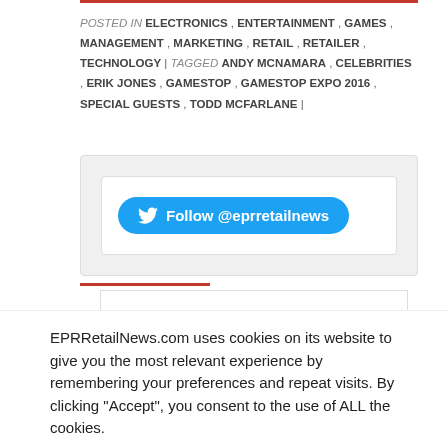POSTED IN ELECTRONICS , ENTERTAINMENT , GAMES , MANAGEMENT , MARKETING , RETAIL , RETAILER , TECHNOLOGY | TAGGED ANDY MCNAMARA , CELEBRITIES , ERIK JONES , GAMESTOP , GAMESTOP EXPO 2016 , SPECIAL GUESTS , TODD MCFARLANE |
[Figure (other): Twitter follow button widget with Follow @eprretailnews button in blue rounded rectangle with Twitter bird logo]
EPRRetailNews.com uses cookies on its website to give you the most relevant experience by remembering your preferences and repeat visits. By clicking “Accept”, you consent to the use of ALL the cookies.
Cookie settings  ACCEPT